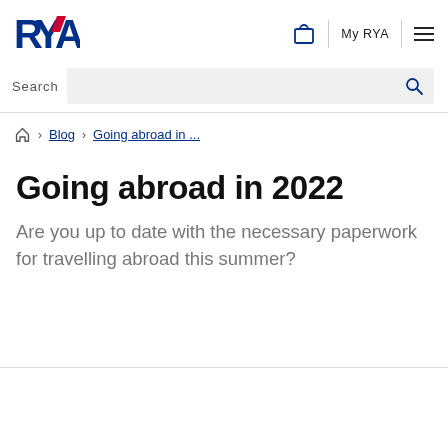[Figure (logo): RYA logo with blue and red stylized letters RYA]
My RYA
Search
🏠 › Blog › Going abroad in ...
Going abroad in 2022
Are you up to date with the necessary paperwork for travelling abroad this summer?